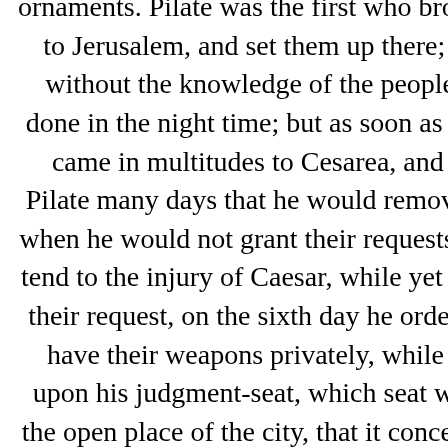ornaments. Pilate was the first who brought those images to Jerusalem, and set them up there; which was done without the knowledge of the people, because it was done in the night time; but as soon as they knew it, they came in multitudes to Cesarea, and interceded with Pilate many days that he would remove the images; and when he would not grant their requests, because it would tend to the injury of Caesar, while yet they persevered in their request, on the sixth day he ordered his soldiers to have their weapons privately, while he came and sat upon his judgment-seat, which seat was so prepared in the open place of the city, that it concealed the army that lay ready to oppress them; and when the Jews petitioned him again, he gave a signal to the soldiers to encompass them routed, and threatened that their punishment should be no less than immediate death, unless they would leave off disturbing him, and go their ways home. But they threw themselves upon the ground, and laid their necks bare, and said